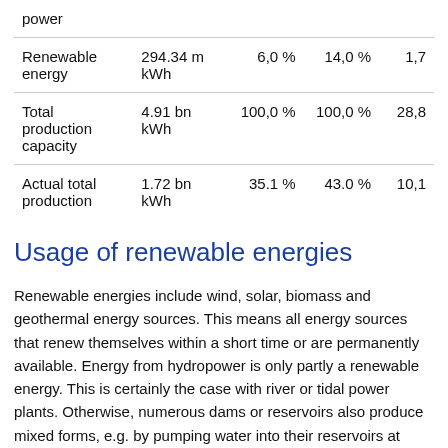|  |  |  |  |  |
| --- | --- | --- | --- | --- |
| power |  |  |  |  |
| Renewable energy | 294.34 m kWh | 6,0 % | 14,0 % | 1,7 |
| Total production capacity | 4.91 bn kWh | 100,0 % | 100,0 % | 28,8 |
| Actual total production | 1.72 bn kWh | 35.1 % | 43.0 % | 10,1 |
Usage of renewable energies
Renewable energies include wind, solar, biomass and geothermal energy sources. This means all energy sources that renew themselves within a short time or are permanently available. Energy from hydropower is only partly a renewable energy. This is certainly the case with river or tidal power plants. Otherwise, numerous dams or reservoirs also produce mixed forms, e.g. by pumping water into their reservoirs at